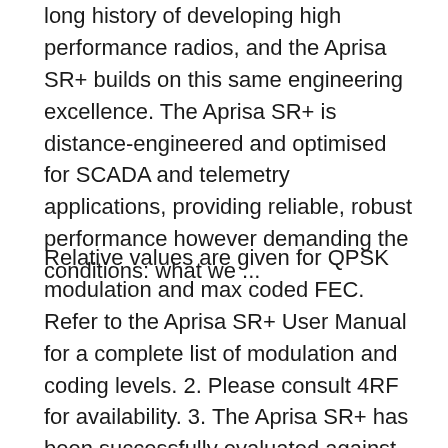long history of developing high performance radios, and the Aprisa SR+ builds on this same engineering excellence. The Aprisa SR+ is distance-engineered and optimised for SCADA and telemetry applications, providing reliable, robust performance however demanding the conditions: what we ...
Relative values are given for QPSK modulation and max coded FEC. Refer to the Aprisa SR+ User Manual for a complete list of modulation and coding levels. 2. Please consult 4RF for availability. 3. The Aprisa SR+ has been successfully evaluated against the requirements of IEEE 1613 for class 1 performance criteria. 4. The gross data rate for the VHF POINT TO MULTI POINT DIGITAL TRANSCEIVER User